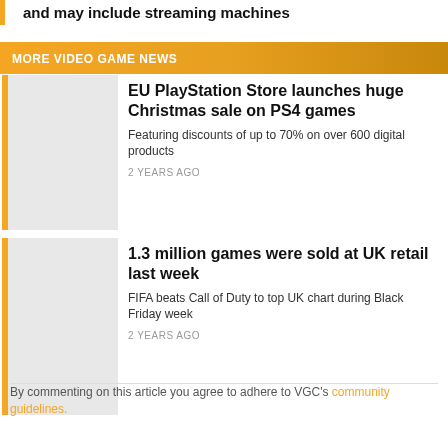and may include streaming machines
MORE VIDEO GAME NEWS
EU PlayStation Store launches huge Christmas sale on PS4 games
Featuring discounts of up to 70% on over 600 digital products
2 YEARS AGO
1.3 million games were sold at UK retail last week
FIFA beats Call of Duty to top UK chart during Black Friday week
2 YEARS AGO
By commenting on this article you agree to adhere to VGC's community guidelines.